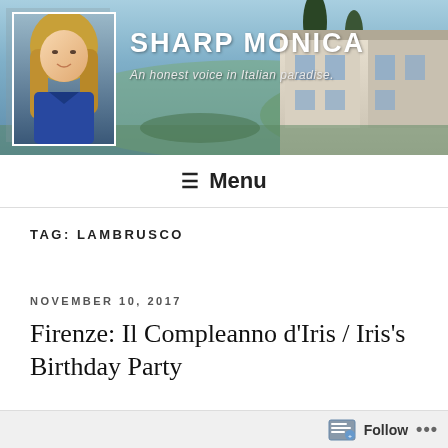[Figure (photo): Blog header banner showing a woman with blonde hair (avatar photo on left) and an Italian villa/building on the right, with a scenic outdoor background. Site title SHARP MONICA and tagline displayed over the banner.]
SHARP MONICA
An honest voice in Italian paradise.
≡ Menu
TAG: LAMBRUSCO
NOVEMBER 10, 2017
Firenze: Il Compleanno d'Iris / Iris's Birthday Party
Follow